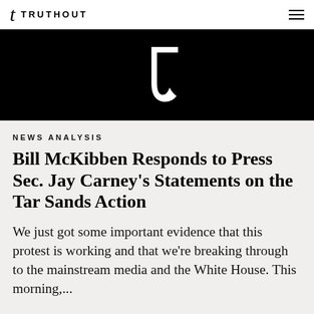t TRUTHOUT
[Figure (logo): Truthout logo mark – white stylized letter t on black background]
NEWS ANALYSIS
Bill McKibben Responds to Press Sec. Jay Carney's Statements on the Tar Sands Action
We just got some important evidence that this protest is working and that we're breaking through to the mainstream media and the White House. This morning,...